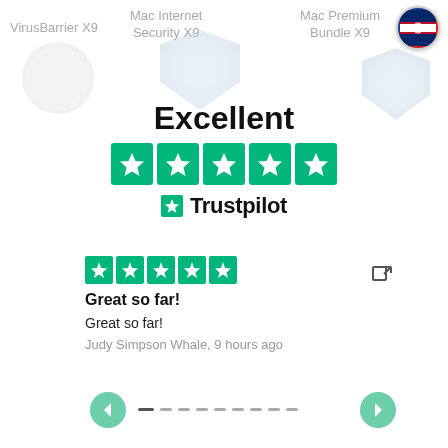VirusBarrier X9   Mac Internet Security X9   Mac Premium Bundle X9
[Figure (infographic): Trustpilot Excellent rating with 5 green stars and Trustpilot logo]
Excellent
[Figure (illustration): 5-star review card: Great so far! by Judy Simpson Whale, 9 hours ago]
Great so far!
Great so far!
Judy Simpson Whale, 9 hours ago